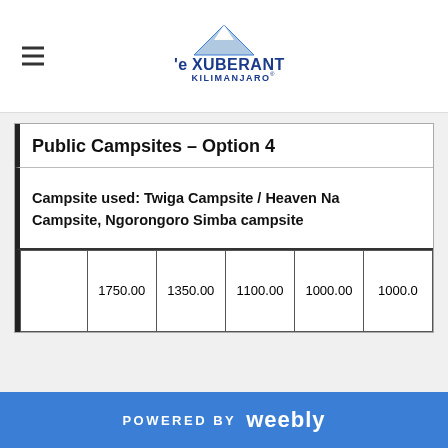Exuberant Kilimanjaro
Public Campsites – Option 4
Campsite used: Twiga Campsite / Heaven Na Campsite, Ngorongoro Simba campsite
|  | 1750.00 | 1350.00 | 1100.00 | 1000.00 | 1000.0 |
POWERED BY weebly